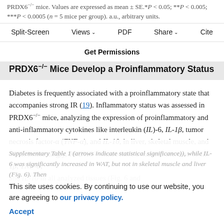PRDX6−/− mice. Values are expressed as mean ± SE.*P < 0.05; **P < 0.005; ***P < 0.0005 (n = 5 mice per group). a.u., arbitrary units.
Split-Screen  Views  PDF  Share  Cite
Get Permissions
PRDX6−/− Mice Develop a Proinflammatory Status
Diabetes is frequently associated with a proinflammatory state that accompanies strong IR (19). Inflammatory status was assessed in PRDX6−/− mice, analyzing the expression of proinflammatory and anti-inflammatory cytokines like interleukin (IL)-6, IL-1β, tumor necrosis factor-α (TNF-α), and IL-10, in liver, skeletal muscle, and WAT. Interestingly, PRDX6−/− mice have a marked increase of IL-1β, TNF-α, and IL-10 in all analyzed tissues (Fig. 6 and Supplementary Table 1 (arrows indicate statistical significance)), while IL-6 was significantly increased in WAT, but not in skeletal muscle and liver (Fig. 6). Then
This site uses cookies. By continuing to use our website, you are agreeing to our privacy policy.
Accept